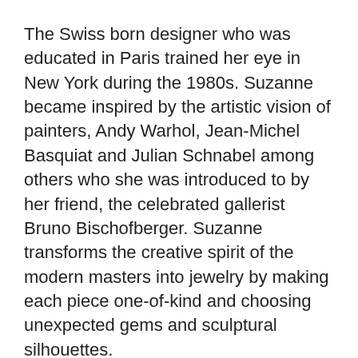The Swiss born designer who was educated in Paris trained her eye in New York during the 1980s. Suzanne became inspired by the artistic vision of painters, Andy Warhol, Jean-Michel Basquiat and Julian Schnabel among others who she was introduced to by her friend, the celebrated gallerist Bruno Bischofberger. Suzanne transforms the creative spirit of the modern masters into jewelry by making each piece one-of-kind and choosing unexpected gems and sculptural silhouettes.
In a spin on that old saw, a diamond as big as The Ritz, Suzanne has presented creative new diamonds at the renovated hotel. The 4.46-carat pear shape gem set in ring with an asymmetrical pink sapphire